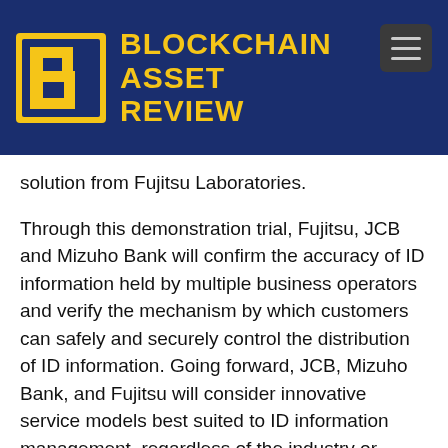BLOCKCHAIN ASSET REVIEW
solution from Fujitsu Laboratories.
Through this demonstration trial, Fujitsu, JCB and Mizuho Bank will confirm the accuracy of ID information held by multiple business operators and verify the mechanism by which customers can safely and securely control the distribution of ID information. Going forward, JCB, Mizuho Bank, and Fujitsu will consider innovative service models best suited to ID information management, regardless of the industry or sector.In recent years, much thought has been given to how individual data-which is acquired and managed by one service provider-can be utilized and distributed among other service providers to enable more convenient services. However, the importance of identity verification has been demonstrated many